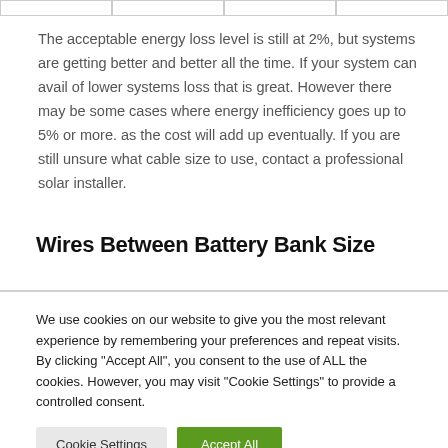The acceptable energy loss level is still at 2%, but systems are getting better and better all the time. If your system can avail of lower systems loss that is great. However there may be some cases where energy inefficiency goes up to 5% or more. as the cost will add up eventually. If you are still unsure what cable size to use, contact a professional solar installer.
Wires Between Battery Bank Size
We use cookies on our website to give you the most relevant experience by remembering your preferences and repeat visits. By clicking "Accept All", you consent to the use of ALL the cookies. However, you may visit "Cookie Settings" to provide a controlled consent.